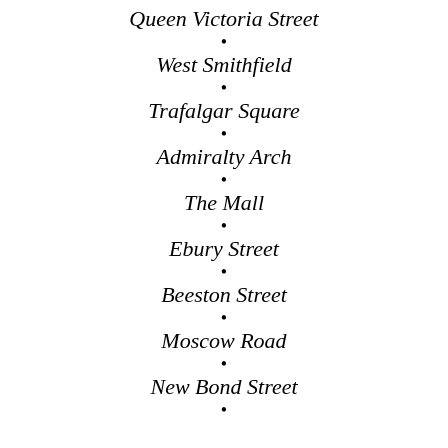Queen Victoria Street
West Smithfield
Trafalgar Square
Admiralty Arch
The Mall
Ebury Street
Beeston Street
Moscow Road
New Bond Street